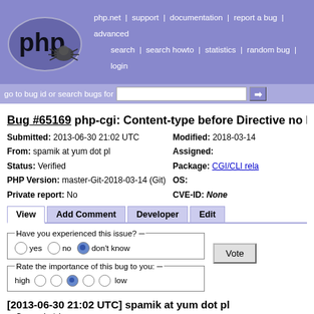php.net | support | documentation | report a bug | advanced search | search howto | statistics | random bug | login
Bug #65169 php-cgi: Content-type before Directive no longer
Submitted: 2013-06-30 21:02 UTC   Modified: 2018-03-14
From: spamik at yum dot pl   Assigned:
Status: Verified   Package: CGI/CLI rela
PHP Version: master-Git-2018-03-14 (Git)   OS:
Private report: No   CVE-ID: None
View | Add Comment | Developer | Edit
Have you experienced this issue? yes no don't know (don't know selected)
Rate the importance of this bug to you: high low (middle selected)
Vote
[2013-06-30 21:02 UTC] spamik at yum dot pl
Description: